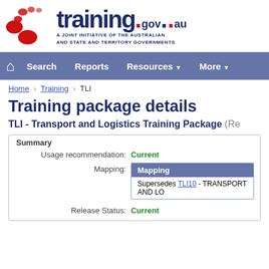[Figure (logo): training.gov.au logo with red dot motif and text 'A JOINT INITIATIVE OF THE AUSTRALIAN AND STATE AND TERRITORY GOVERNMENTS']
[Figure (screenshot): Navigation bar with Home icon, Search, Reports, Resources, More menu items on blue-grey background]
Home > Training > TLI
Training package details
TLI - Transport and Logistics Training Package (Re...
Summary
Usage recommendation: Current
Mapping: Mapping | Supersedes TLI10 - TRANSPORT AND LO...
Release Status: Current